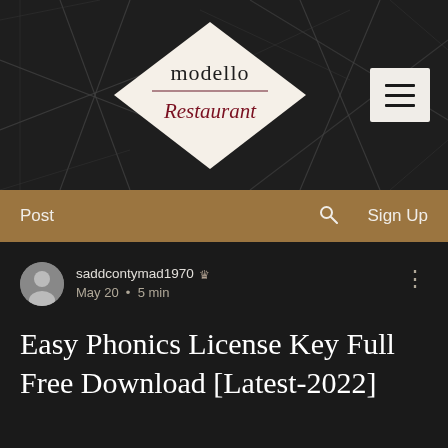[Figure (logo): Modello Restaurant logo — diamond-shaped emblem with 'modello' in serif and 'Restaurant' in dark red italic script, on a dark geometric patterned background with a hamburger menu button on the right]
Post   🔍   Sign Up
saddcontymad1970 👑
May 20  •  5 min
Easy Phonics License Key Full Free Download [Latest-2022]